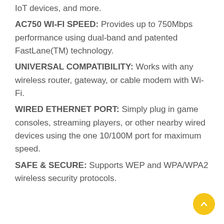IoT devices, and more.
AC750 WI-FI SPEED: Provides up to 750Mbps performance using dual-band and patented FastLane(TM) technology.
UNIVERSAL COMPATIBILITY: Works with any wireless router, gateway, or cable modem with Wi-Fi.
WIRED ETHERNET PORT: Simply plug in game consoles, streaming players, or other nearby wired devices using the one 10/100M port for maximum speed.
SAFE & SECURE: Supports WEP and WPA/WPA2 wireless security protocols.